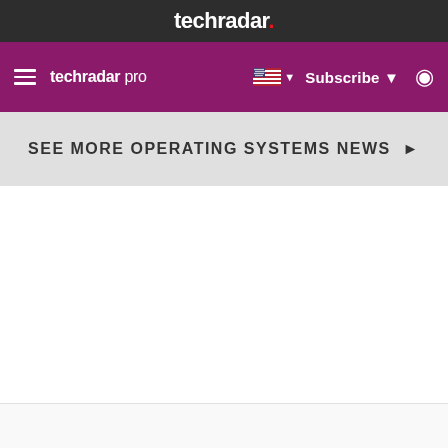techradar.
techradar pro — Subscribe
SEE MORE OPERATING SYSTEMS NEWS ▶